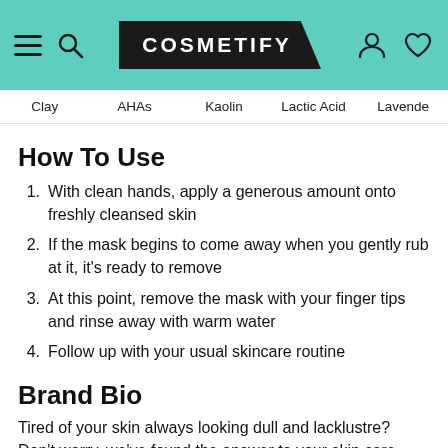[Figure (screenshot): Cosmetify website header with teal background, hamburger menu, search icon, Cosmetify logo in black parallelogram, user account and heart icons]
Clay   AHAs   Kaolin   Lactic Acid   Lavende
How To Use
With clean hands, apply a generous amount onto freshly cleansed skin
If the mask begins to come away when you gently rub at it, it's ready to remove
At this point, remove the mask with your finger tips and rinse away with warm water
Follow up with your usual skincare routine
Brand Bio
Tired of your skin always looking dull and lacklustre? Don't worry, we've found the answer to your skin care worries. REN are experts in the